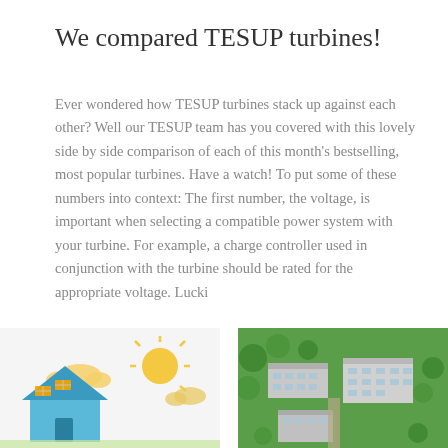We compared TESUP turbines!
Ever wondered how TESUP turbines stack up against each other? Well our TESUP team has you covered with this lovely side by side comparison of each of this month's bestselling, most popular turbines. Have a watch! To put some of these numbers into context: The first number, the voltage, is important when selecting a compatible power system with your turbine. For example, a charge controller used in conjunction with the turbine should be rated for the appropriate voltage. Lucki
46   0
[Figure (illustration): Bottom-left: flat design illustration of a house with solar panels and sun icon. Bottom-right: aerial photo of an apartment block complex surrounded by trees.]